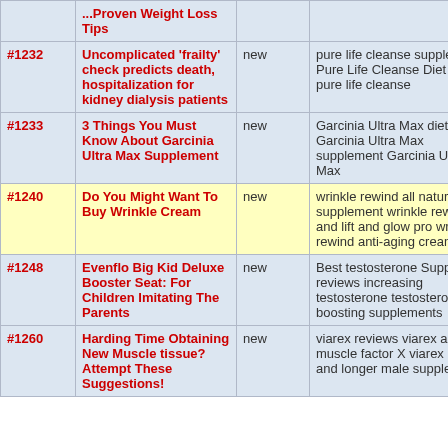| ID | Title | Status | Keywords |
| --- | --- | --- | --- |
|  | ...Proven Weight Loss Tips |  |  |
| #1232 | Uncomplicated 'frailty' check predicts death, hospitalization for kidney dialysis patients | new | pure life cleanse supplements Pure Life Cleanse Diet Buy pure life cleanse |
| #1233 | 3 Things You Must Know About Garcinia Ultra Max Supplement | new | Garcinia Ultra Max diet Garcinia Ultra Max supplement Garcinia Ultra Max |
| #1240 | Do You Might Want To Buy Wrinkle Cream | new | wrinkle rewind all natural supplement wrinkle rewind and lift and glow pro wrinkle rewind anti-aging cream |
| #1248 | Evenflo Big Kid Deluxe Booster Seat: For Children Imitating The Parents | new | Best testosterone Supplement reviews increasing testosterone testosterone boosting supplements |
| #1260 | Harding Time Obtaining New Muscle tissue? Attempt These Suggestions! | new | viarex reviews viarex and muscle factor X viarex bigger and longer male supplement |